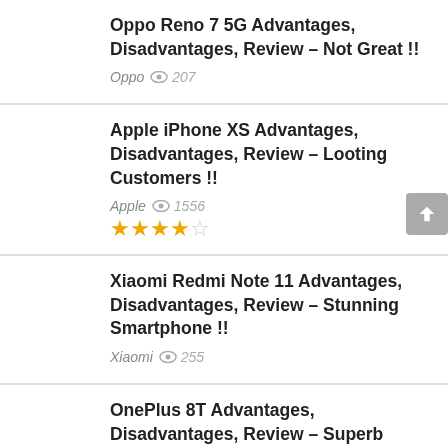Oppo Reno 7 5G Advantages, Disadvantages, Review – Not Great !!
Oppo   207
Apple iPhone XS Advantages, Disadvantages, Review – Looting Customers !!
Apple   1556
[Figure (other): 4-star rating widget: 4 filled stars and 1 empty star in orange/grey]
Xiaomi Redmi Note 11 Advantages, Disadvantages, Review – Stunning Smartphone !!
Xiaomi   255
OnePlus 8T Advantages, Disadvantages, Review – Superb